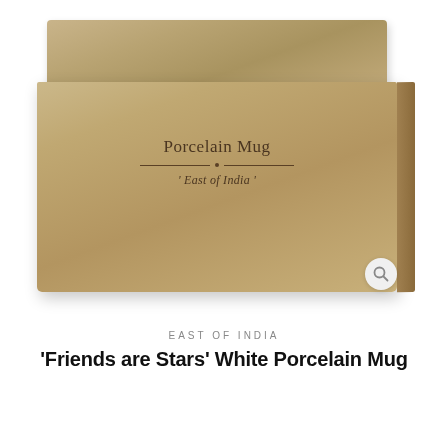[Figure (photo): A kraft cardboard gift box with lid, showing 'Porcelain Mug' text with a decorative divider and 'East of India' subtitle printed on the front. A magnifying glass icon appears in the bottom-right corner of the photo.]
EAST OF INDIA
'Friends are Stars' White Porcelain Mug